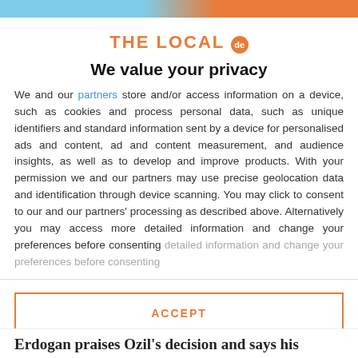THE LOCAL de
We value your privacy
We and our partners store and/or access information on a device, such as cookies and process personal data, such as unique identifiers and standard information sent by a device for personalised ads and content, ad and content measurement, and audience insights, as well as to develop and improve products. With your permission we and our partners may use precise geolocation data and identification through device scanning. You may click to consent to our and our partners' processing as described above. Alternatively you may access more detailed information and change your preferences before consenting
ACCEPT
MORE OPTIONS
Erdogan praises Ozil's decision and says his